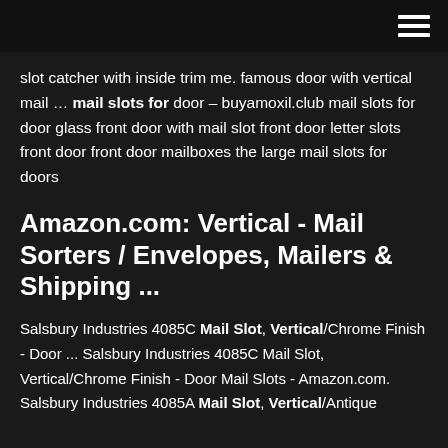≡
slot catcher with inside trim me. famous door with vertical mail … mail slots for door – buyamoxil.club mail slots for door glass front door with mail slot front door letter slots front door front door mailboxes the large mail slots for doors
Amazon.com: Vertical - Mail Sorters / Envelopes, Mailers & Shipping ...
Salsbury Industries 4085C Mail Slot, Vertical/Chrome Finish - Door ... Salsbury Industries 4085C Mail Slot, Vertical/Chrome Finish - Door Mail Slots - Amazon.com. Salsbury Industries 4085A Mail Slot, Vertical/Antique